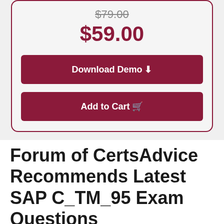$79.00 (strikethrough)
$59.00
Download Demo
Add to Cart
Forum of CertsAdvice Recommends Latest SAP C_TM_95 Exam Questions
CertsAdvice provide their students' an opportunity to prepare SAP C_TM_95 through real PDF exam questions and answers. This forum provides you definite success in SAP C_TM_95 exam because